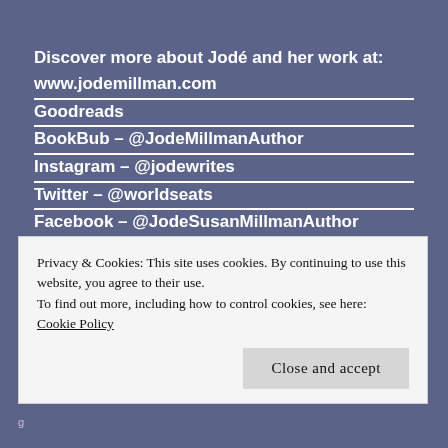Discover more about Jodé and her work at:
www.jodemillman.com
Goodreads
BookBub – @JodeMillmanAuthor
Instagram – @jodewrites
Twitter – @worldseats
Facebook – @JodeSusanMillmanAuthor
Privacy & Cookies: This site uses cookies. By continuing to use this website, you agree to their use.
To find out more, including how to control cookies, see here: Cookie Policy
Close and accept